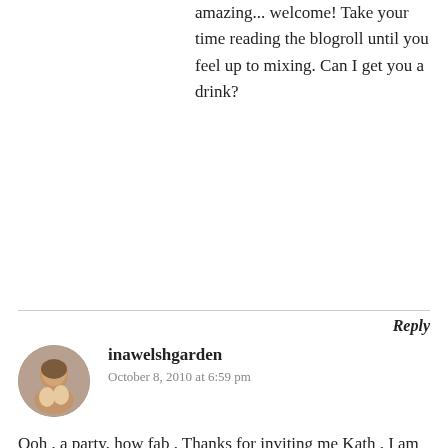amazing... welcome! Take your time reading the blogroll until you feel up to mixing. Can I get you a drink?
Reply
inawelshgarden
October 8, 2010 at 6:59 pm
Ooh , a party, how fab , Thanks for inviting me Kath , I am bringing a packet of rolos because times are hard.
I am wondering where the kitchen is as this is usually where I end up at parties. I might get a trip to the loo in now before the queues start.
I'm wondering how I should